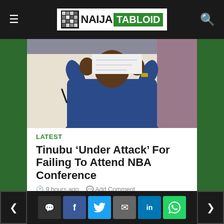NAIJA TABLOID
[Figure (photo): Person in blue outfit with hands raised near face, appears to be at a press conference or meeting]
LATEST
Tinubu ‘Under Attack’ For Failing To Attend NBA Conference
9 hours ago   Add Comment
The presidential candidate of the All Progressives Congress (APC), Bola Tinubu, has come under heavy criticism for not attending the
Share bar with comment, facebook, twitter, email, linkedin, whatsapp buttons